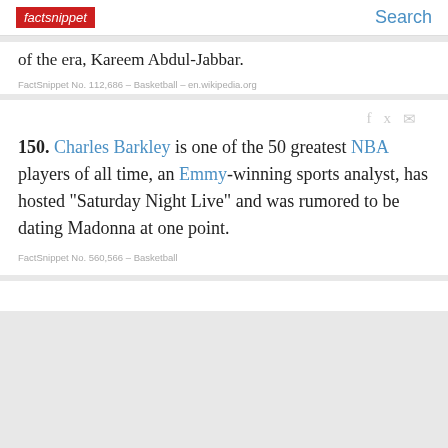factsnippet | Search
of the era, Kareem Abdul-Jabbar.
FactSnippet No. 112,686 – Basketball – en.wikipedia.org
150. Charles Barkley is one of the 50 greatest NBA players of all time, an Emmy-winning sports analyst, has hosted "Saturday Night Live" and was rumored to be dating Madonna at one point.
FactSnippet No. 560,566 – Basketball